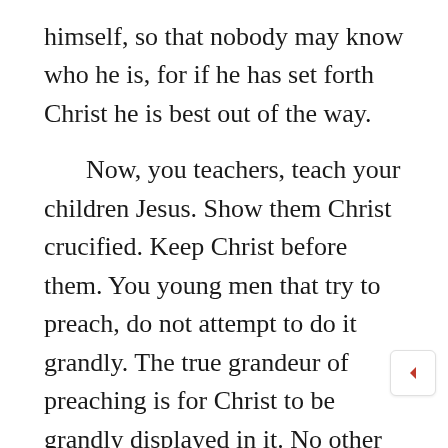himself, so that nobody may know who he is, for if he has set forth Christ he is best out of the way.
Now, you teachers, teach your children Jesus. Show them Christ crucified. Keep Christ before them. You young men that try to preach, do not attempt to do it grandly. The true grandeur of preaching is for Christ to be grandly displayed in it. No other grandeur is wanted. Keep self in the background, but set forth Jesus Christ among the people, evidently crucified among them. None but Jesus, none but